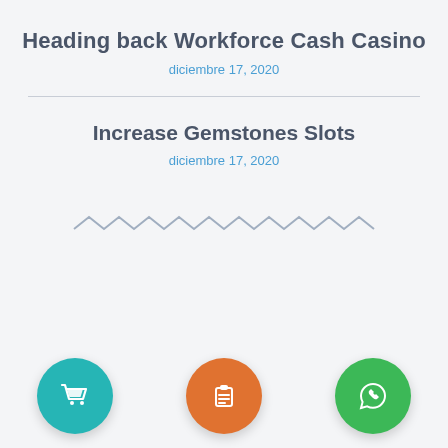Heading back Workforce Cash Casino
diciembre 17, 2020
Increase Gemstones Slots
diciembre 17, 2020
[Figure (illustration): Zigzag/chevron decorative wave divider in muted purple/grey color]
[Figure (illustration): Three circular icon buttons: teal shopping cart, orange clipboard/list, green phone/WhatsApp]